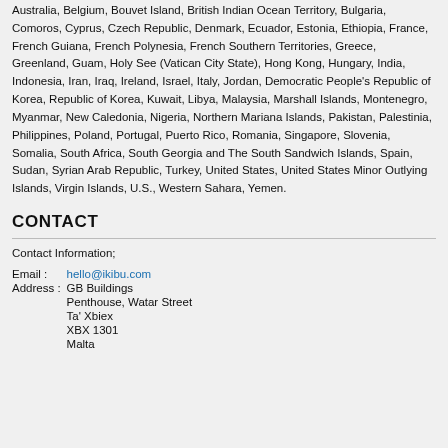Australia, Belgium, Bouvet Island, British Indian Ocean Territory, Bulgaria, Comoros, Cyprus, Czech Republic, Denmark, Ecuador, Estonia, Ethiopia, France, French Guiana, French Polynesia, French Southern Territories, Greece, Greenland, Guam, Holy See (Vatican City State), Hong Kong, Hungary, India, Indonesia, Iran, Iraq, Ireland, Israel, Italy, Jordan, Democratic People's Republic of Korea, Republic of Korea, Kuwait, Libya, Malaysia, Marshall Islands, Montenegro, Myanmar, New Caledonia, Nigeria, Northern Mariana Islands, Pakistan, Palestinia, Philippines, Poland, Portugal, Puerto Rico, Romania, Singapore, Slovenia, Somalia, South Africa, South Georgia and The South Sandwich Islands, Spain, Sudan, Syrian Arab Republic, Turkey, United States, United States Minor Outlying Islands, Virgin Islands, U.S., Western Sahara, Yemen.
CONTACT
Contact Information;
Email : hello@ikibu.com
Address : GB Buildings
Penthouse, Watar Street
Ta' Xbiex
XBX 1301
Malta